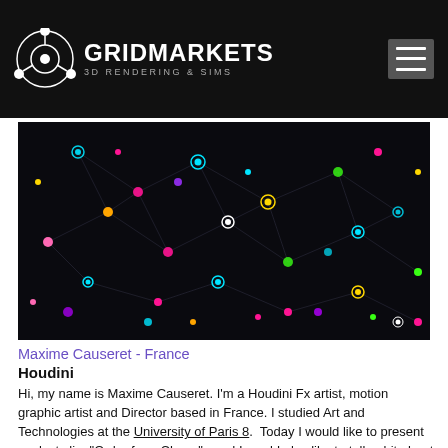GRIDMARKETS 3D RENDERING & SIMS
[Figure (photo): Colorful abstract network visualization with glowing nodes and connections on black background]
Maxime Causeret - France
Houdini
Hi, my name is Maxime Causeret. I'm a Houdini Fx artist, motion graphic artist and Director based in France. I studied Art and Technologies at the University of Paris 8.  Today I would like to present my last clip, "Order from Chaos",  and I would also like to talk a bit about interaction with music in Houdini. Read more